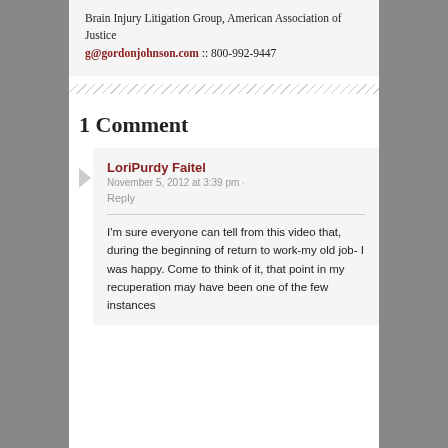Brain Injury Litigation Group, American Association of Justice g@gordonjohnson.com :: 800-992-9447
1 Comment
LoriPurdy Faitel
November 5, 2012 at 3:39 pm
Reply
I'm sure everyone can tell from this video that, during the beginning of return to work-my old job- I was happy. Come to think of it, that point in my recuperation may have been one of the few instances